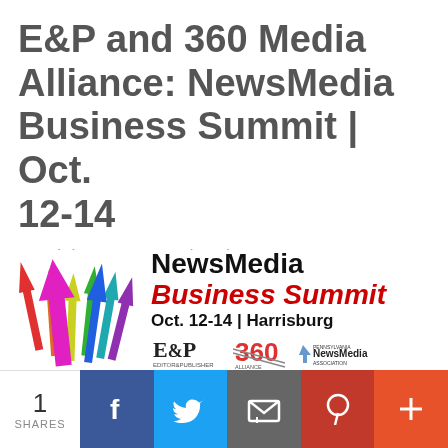E&P and 360 Media Alliance: NewsMedia Business Summit | Oct. 12-14
Harrisburg, Pennsylvania
[Figure (logo): NewsMedia Business Summit event logo with colorful upward arrows on the left, 'NewsMedia Business Summit Oct. 12-14 | Harrisburg' text, and logos for E&P Editor & Publisher, 360 Media Alliance, and Pennsylvania NewsMedia Association]
1 SHARES [Facebook] [Twitter] [Email] [Pinterest] [+]